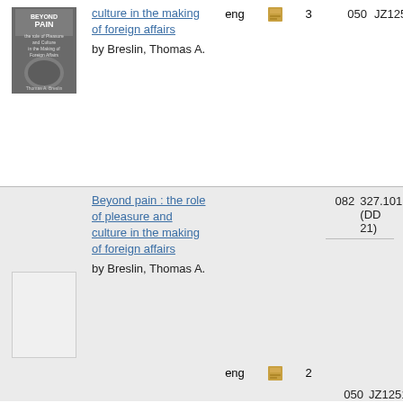| Cover | Title/Author | Language | Format | Count | Class | Call Number |
| --- | --- | --- | --- | --- | --- | --- |
| [book cover] | culture in the making of foreign affairs
by Breslin, Thomas A. | eng | [icon] | 3 | 050 | JZ1251 |
| [blank cover] | Beyond pain : the role of pleasure and culture in the making of foreign affairs
by Breslin, Thomas A. | eng | [icon] | 2 | 082
050 | 327.101 (DD 21)
JZ1251 |